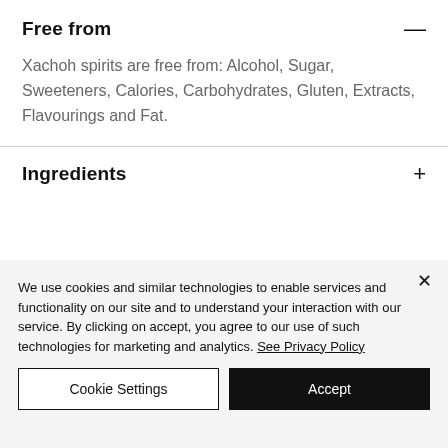Free from
Xachoh spirits are free from: Alcohol, Sugar, Sweeteners, Calories, Carbohydrates, Gluten, Extracts, Flavourings and Fat.
Ingredients
We use cookies and similar technologies to enable services and functionality on our site and to understand your interaction with our service. By clicking on accept, you agree to our use of such technologies for marketing and analytics. See Privacy Policy